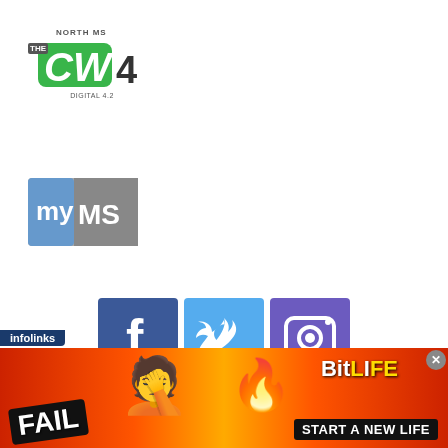[Figure (logo): North MS CW4 Digital 4.3 television network logo with green CW text and dark numeral 4]
[Figure (logo): myMS channel logo with blue 'my' on left and grey 'MS' on right]
[Figure (infographic): Three social media icons: Facebook (blue), Twitter (light blue), Instagram (purple)]
[Figure (infographic): Red Watch Live button with play icon and text WATCH LIVE]
[Figure (infographic): Infolinks advertisement banner for BitLife game showing FAIL badge, emoji, flames, and START A NEW LIFE text]